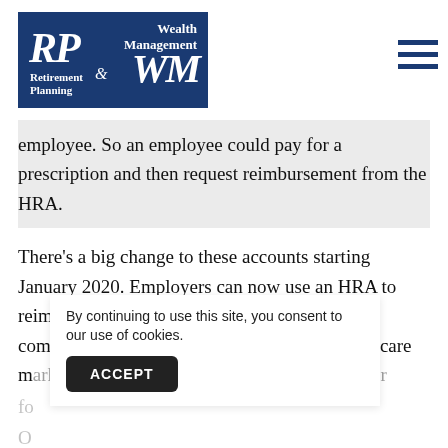[Figure (logo): RP & WM Retirement Planning & Wealth Management logo — dark blue rectangle with white serif italic lettering]
employee. So an employee could pay for a prescription and then request reimbursement from the HRA.
There's a big change to these accounts starting January 2020. Employers can now use an HRA to reimburse employees for purchasing their own comprehensive coverage, whether on the healthcare m[arket or elsewhere. This could be a major f[actor for...
O[...